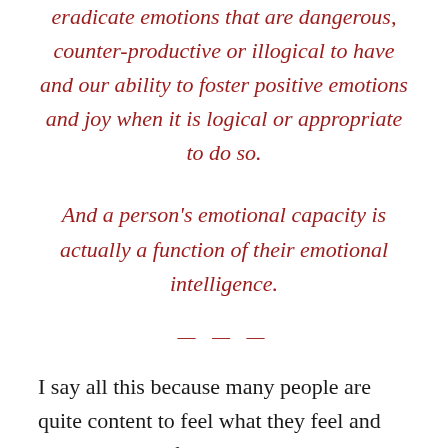eradicate emotions that are dangerous, counter-productive or illogical to have and our ability to foster positive emotions and joy when it is logical or appropriate to do so.
And a person's emotional capacity is actually a function of their emotional intelligence.
---
I say all this because many people are quite content to feel what they feel and perhaps as an afterthought to think